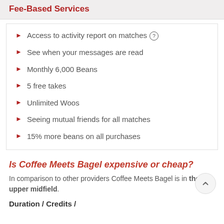Fee-Based Services
Access to activity report on matches
See when your messages are read
Monthly 6,000 Beans
5 free takes
Unlimited Woos
Seeing mutual friends for all matches
15% more beans on all purchases
Is Coffee Meets Bagel expensive or cheap?
In comparison to other providers Coffee Meets Bagel is in the upper midfield.
Duration / Credits /